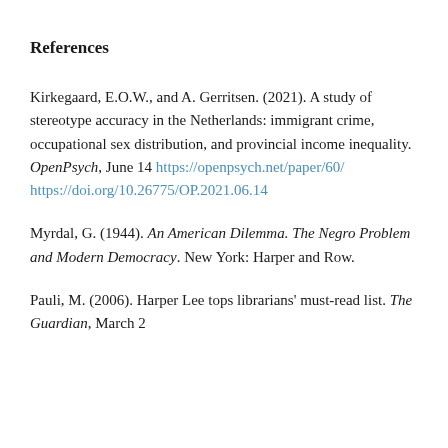References
Kirkegaard, E.O.W., and A. Gerritsen. (2021). A study of stereotype accuracy in the Netherlands: immigrant crime, occupational sex distribution, and provincial income inequality. OpenPsych, June 14 https://openpsych.net/paper/60/ https://doi.org/10.26775/OP.2021.06.14
Myrdal, G. (1944). An American Dilemma. The Negro Problem and Modern Democracy. New York: Harper and Row.
Pauli, M. (2006). Harper Lee tops librarians' must-read list. The Guardian, March 2